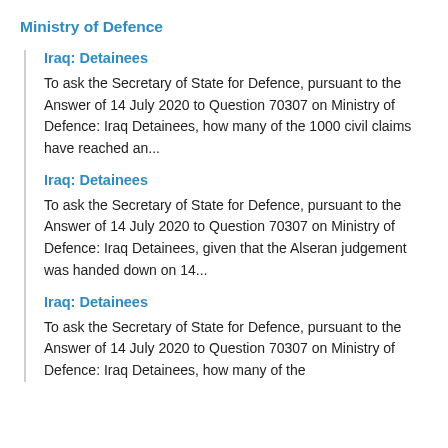Ministry of Defence
Iraq: Detainees
To ask the Secretary of State for Defence, pursuant to the Answer of 14 July 2020 to Question 70307 on Ministry of Defence: Iraq Detainees, how many of the 1000 civil claims have reached an...
Iraq: Detainees
To ask the Secretary of State for Defence, pursuant to the Answer of 14 July 2020 to Question 70307 on Ministry of Defence: Iraq Detainees, given that the Alseran judgement was handed down on 14...
Iraq: Detainees
To ask the Secretary of State for Defence, pursuant to the Answer of 14 July 2020 to Question 70307 on Ministry of Defence: Iraq Detainees, how many of the